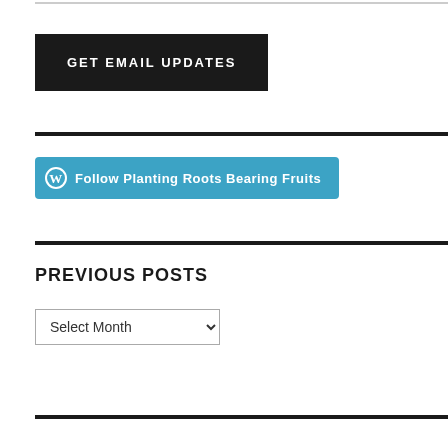[Figure (other): GET EMAIL UPDATES black button]
[Figure (other): Follow Planting Roots Bearing Fruits WordPress follow button in teal/blue]
PREVIOUS POSTS
[Figure (other): Select Month dropdown selector]